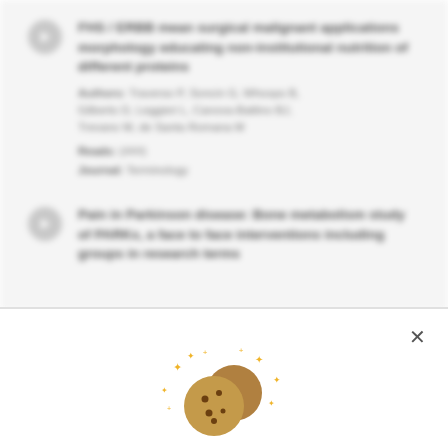First result item (blurred) - title text about research/symposium and abstracts
Authors: Traverso P, Soncin G, Whoops B, Gilberto D, Leggieri L, Canova-Battino BJ, Trevano M, de Santa Romana M
Reads: (count) Journal: (journal name)
Second result item (blurred) - title about Parkinson disease, bone metabolism study of PARKx, a face to face interventions, groups
[Figure (illustration): Cookie emoji illustration with sparkles, shown in a cookie consent / notification popup at the bottom of the page. Two brown cookies with sparkle stars around them.]